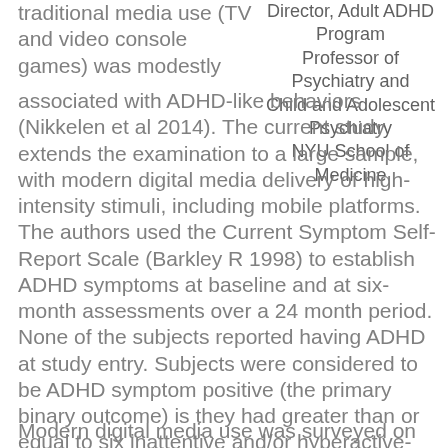traditional media use (TV and video console games) was modestly
Director, Adult ADHD Program Professor of Psychiatry and Child and Adolescent Psychiatry NYU School of Medicine
associated with ADHD-like behaviors (Nikkelen et al 2014). The current study extends the examination to a large sample, with modern digital media delivery of high-intensity stimuli, including mobile platforms. The authors used the Current Symptom Self-Report Scale (Barkley R 1998) to establish ADHD symptoms at baseline and at six-month assessments over a 24 month period. None of the subjects reported having ADHD at study entry. Subjects were considered to be ADHD symptom positive (the primary binary outcome) is they had greater than or equal to six inattentive and/or hyperactive-impulsive symptoms rated on this frequency-based scale (0-3).
Modern digital media use was surveyed on